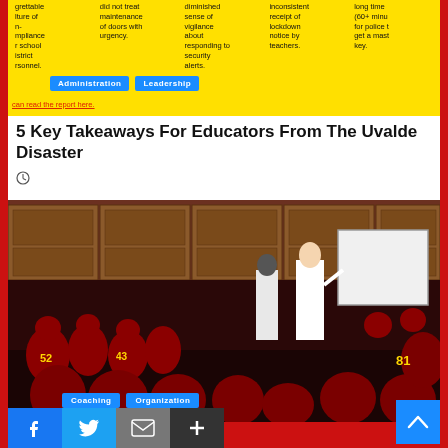[Figure (infographic): Yellow background table showing failure categories from a school district report, with columns for administration, leadership, and other categories. Blue tags labeled Administration and Leadership visible. Red link text 'can read the report here.']
5 Key Takeaways For Educators From The Uvalde Disaster
[Figure (photo): Football team in locker room wearing maroon and gold uniforms, gathered around a coach writing on a whiteboard. Locker room setting with wooden lockers in background.]
Coaching    Organization